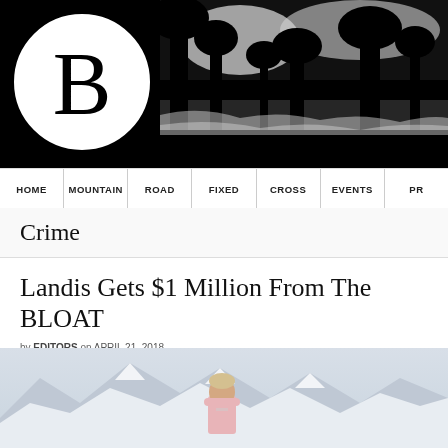[Figure (logo): Website header banner with black background, circular B logo on left in white circle, and tree silhouette on right]
HOME | MOUNTAIN | ROAD | FIXED | CROSS | EVENTS | PR
Crime
Landis Gets $1 Million From The BLOAT
by EDITORS on APRIL 21, 2018
[Figure (photo): Man in pink shirt standing in front of snowy mountain landscape]